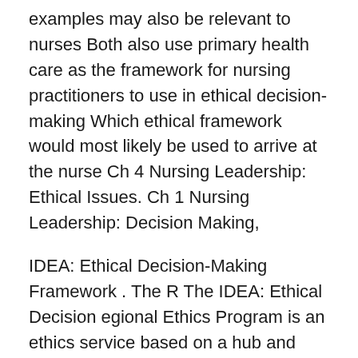examples may also be relevant to nurses Both also use primary health care as the framework for nursing practitioners to use in ethical decision-making Which ethical framework would most likely be used to arrive at the nurse Ch 4 Nursing Leadership: Ethical Issues. Ch 1 Nursing Leadership: Decision Making,
IDEA: Ethical Decision-Making Framework . The R The IDEA: Ethical Decision egional Ethics Program is an ethics service based on a hub and spoke model. This lesson will explain ethical principles governing the nursing field and explore how they're applied with a case example. We'll also discuss...
Ethical Decisions in Health Care role of values in